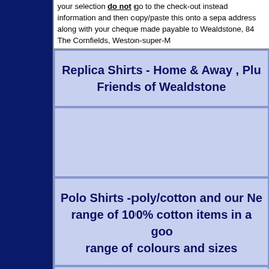your selection do not go to the check-out instead information and then copy/paste this onto a separate address along with your cheque made payable to Wealdstone, 84 The Cornfields, Weston-super-M
Replica Shirts - Home & Away , Plus Friends of Wealdstone
[Figure (photo): Image area for replica shirts]
Polo Shirts -poly/cotton and our New range of 100% cotton items in a good range of colours and sizes
[Figure (photo): Bottom image cell area]